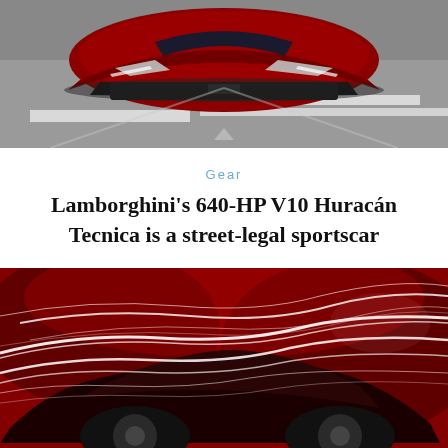[Figure (photo): Close-up front view of a red Lamborghini Huracán Tecnica on a road with white lane markings, shot from above/front angle showing the hood and front splitter]
Gear
Lamborghini's 640-HP V10 Huracán Tecnica is a street-legal sportscar
[Figure (photo): Artistic render of a dark red Lamborghini Huracán Tecnica with flowing white light streaks creating aerodynamic effect against a red background]